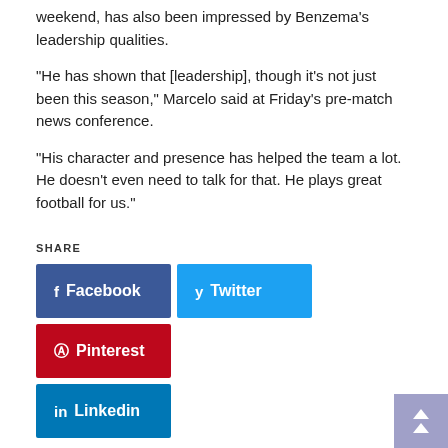weekend, has also been impressed by Benzema's leadership qualities.
“He has shown that [leadership], though it’s not just been this season,” Marcelo said at Friday’s pre-match news conference.
“His character and presence has helped the team a lot. He doesn’t even need to talk for that. He plays great football for us.”
SHARE
[Figure (other): Social share buttons: Facebook (blue), Twitter (light blue), Pinterest (red), Linkedin (dark blue)]